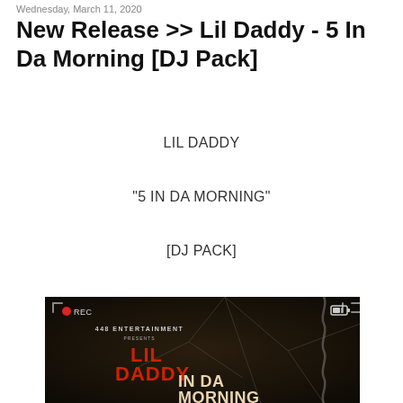Wednesday, March 11, 2020
New Release >> Lil Daddy - 5 In Da Morning [DJ Pack]
LIL DADDY
"5 IN DA MORNING"
[DJ PACK]
[Figure (photo): Album art for Lil Daddy '5 In Da Morning' DJ Pack by 448 Entertainment. Dark background with broken glass/chains imagery, red text reading 'LIL DADDY', white text 'IN DA MORNING', camera recording UI overlay with REC indicator and battery icon in corners.]